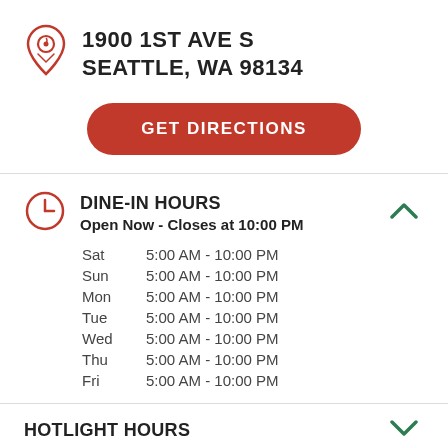1900 1ST AVE S
SEATTLE, WA 98134
GET DIRECTIONS
DINE-IN HOURS
Open Now - Closes at 10:00 PM
Sat   5:00 AM - 10:00 PM
Sun   5:00 AM - 10:00 PM
Mon   5:00 AM - 10:00 PM
Tue   5:00 AM - 10:00 PM
Wed   5:00 AM - 10:00 PM
Thu   5:00 AM - 10:00 PM
Fri   5:00 AM - 10:00 PM
HOTLIGHT HOURS